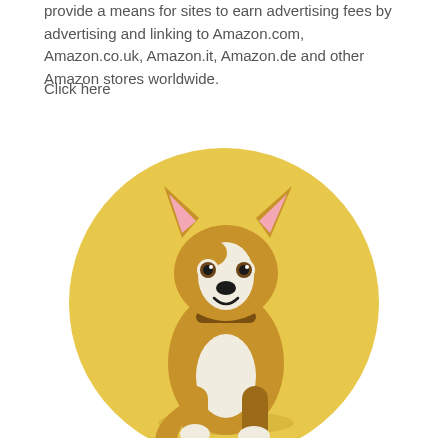provide a means for sites to earn advertising fees by advertising and linking to Amazon.com, Amazon.co.uk, Amazon.it, Amazon.de and other Amazon stores worldwide.
Click here
[Figure (illustration): Cartoon illustration of a cute chihuahua-type dog sitting upright on a yellow circular background. The dog has brown and white coloring with pink inner ears, big dark eyes, a small black nose, and a slight smile. It has a brown collar and white paws.]